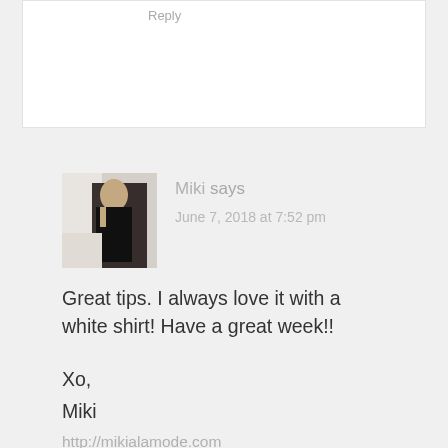Reply
[Figure (photo): Avatar photo of a woman in dark clothing standing near a wall]
Miki says
June 7, 2018 at 7:52 pm
Great tips. I always love it with a white shirt! Have a great week!!
Xo,
Miki
http://mikialamode.com
Reply